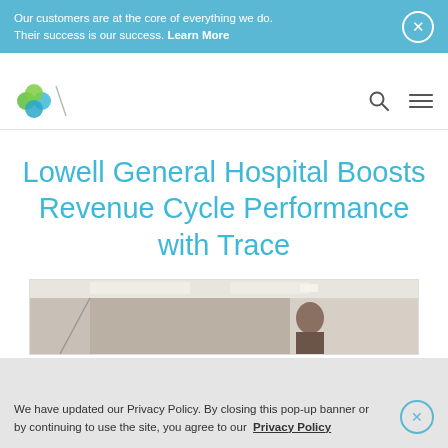Our customers are at the core of everything we do. Their success is our success. Learn More
[Figure (logo): Netsmart logo — colorful overlapping diamond/cross shapes in green and blue, with a diagonal line element]
Lowell General Hospital Boosts Revenue Cycle Performance with Trace
[Figure (photo): Interior hospital or office scene with a person visible and ceiling lights in background]
We have updated our Privacy Policy. By closing this pop-up banner or by continuing to use the site, you agree to our Privacy Policy